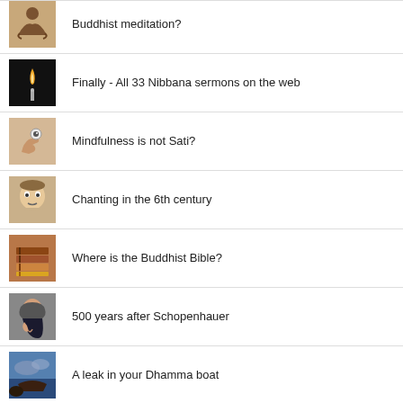Buddhist meditation?
Finally - All 33 Nibbana sermons on the web
Mindfulness is not Sati?
Chanting in the 6th century
Where is the Buddhist Bible?
500 years after Schopenhauer
A leak in your Dhamma boat